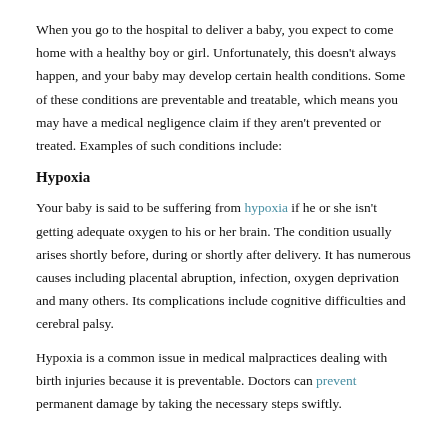When you go to the hospital to deliver a baby, you expect to come home with a healthy boy or girl. Unfortunately, this doesn't always happen, and your baby may develop certain health conditions. Some of these conditions are preventable and treatable, which means you may have a medical negligence claim if they aren't prevented or treated. Examples of such conditions include:
Hypoxia
Your baby is said to be suffering from hypoxia if he or she isn't getting adequate oxygen to his or her brain. The condition usually arises shortly before, during or shortly after delivery. It has numerous causes including placental abruption, infection, oxygen deprivation and many others. Its complications include cognitive difficulties and cerebral palsy.
Hypoxia is a common issue in medical malpractices dealing with birth injuries because it is preventable. Doctors can prevent permanent damage by taking the necessary steps swiftly.